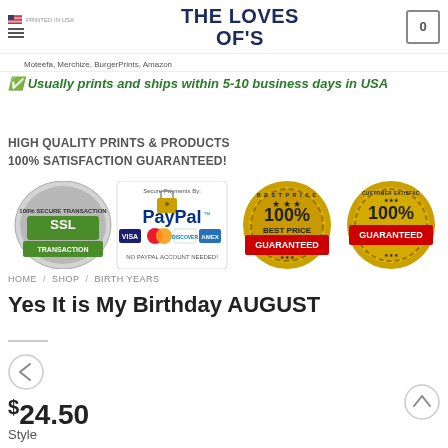THE LOVES OF'S
PRINTED IN USA. Sold by Moteefa, Merchize, BurgerPrints, Amazon
✅ Usually prints and ships within 5-10 business days in USA
HIGH QUALITY PRINTS & PRODUCTS
100% SATISFACTION GUARANTEED!
[Figure (infographic): Trust badges row: SSL Secure Transaction badge, PayPal Secure Payments (Visa, Mastercard, Discover, Amex) badge with NO PAYPAL ACCOUNT NEEDED, Best Price 100% Guaranteed badge, Customer Satisfaction 100% Guaranteed badge]
HOME / SHOP / BIRTH YEARS
Yes It is My Birthday AUGUST
$24.50
Style